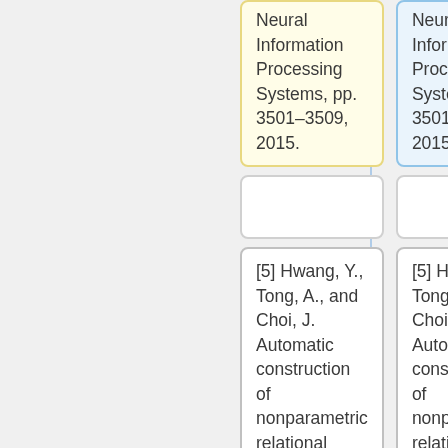Neural Information Processing Systems, pp. 3501–3509, 2015.
Neural Information Processing Systems, pp. 3501–3509, 2015.
[5] Hwang, Y., Tong, A., and Choi, J. Automatic construction of nonparametric relational regression models for multiple time series. In Proceedings of the 33rd International Conference on
[5] Hwang, Y., Tong, A., and Choi, J. Automatic construction of nonparametric relational regression models for multiple time series. In Proceedings of the 33rd International Conference on